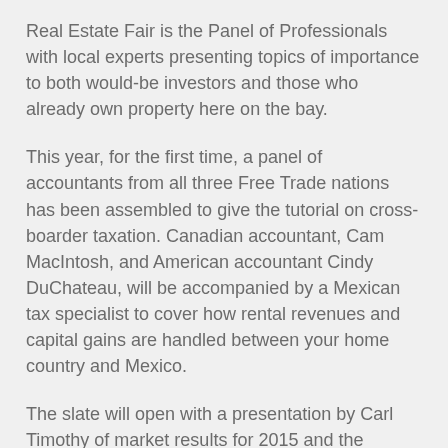Real Estate Fair is the Panel of Professionals with local experts presenting topics of importance to both would-be investors and those who already own property here on the bay.
This year, for the first time, a panel of accountants from all three Free Trade nations has been assembled to give the tutorial on cross-boarder taxation. Canadian accountant, Cam MacIntosh, and American accountant Cindy DuChateau, will be accompanied by a Mexican tax specialist to cover how rental revenues and capital gains are handled between your home country and Mexico.
The slate will open with a presentation by Carl Timothy of market results for 2015 and the outlook for 2016. Reputed real estate lawyer, Jessica Riedesser, will outline the basics on closing costs for both buyers and sellers.
This is a wonderful opportunity for attendees to have a